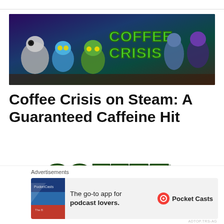[Figure (illustration): Coffee Crisis game banner showing colorful cartoon characters including alien creatures, a blue cat, and human fighters against a dark background with the text 'Coffee Crisis' in green stylized letters]
Coffee Crisis on Steam: A Guaranteed Caffeine Hit
[Figure (illustration): Large stylized 3D green metallic 'COFFEE CRISIS' logo text on white background]
Advertisements
[Figure (screenshot): Advertisement for Pocket Casts app: 'The go-to app for podcast lovers.' with Pocket Casts logo]